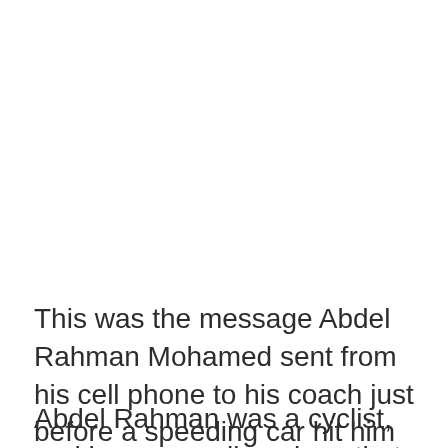This was the message Abdel Rahman Mohamed sent from his cell phone to his coach just before a speeding car hit him on Foka Road, between Wadi al-Natroon and Al-Alamein.
Abdel Rahman was a cyclist, and he was cycling along that particular road as part of his